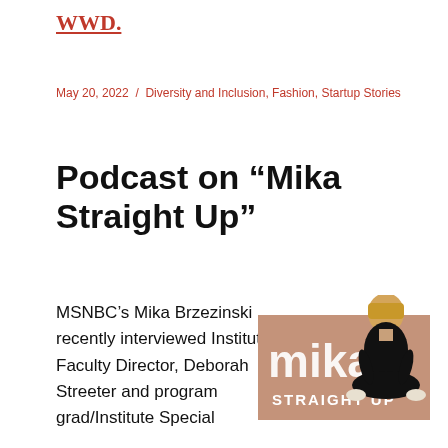WWD.
May 20, 2022  /  Diversity and Inclusion, Fashion, Startup Stories
Podcast on “Mika Straight Up”
MSNBC’s Mika Brzezinski recently interviewed Institute Faculty Director, Deborah Streeter and program grad/Institute Special
[Figure (logo): Mika Straight Up podcast logo featuring a blonde woman seated cross-legged in black outfit with text 'mika STRAIGHT UP' on a pinkish-brown background]